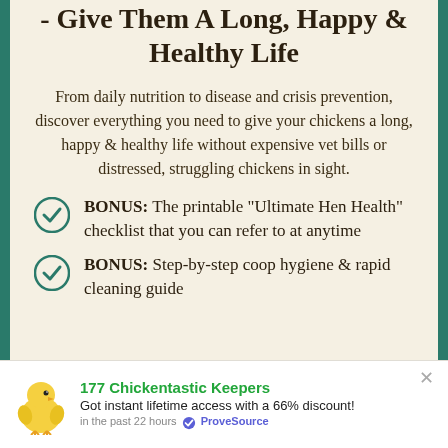- Give Them A Long, Happy & Healthy Life
From daily nutrition to disease and crisis prevention, discover everything you need to give your chickens a long, happy & healthy life without expensive vet bills or distressed, struggling chickens in sight.
BONUS: The printable “Ultimate Hen Health” checklist that you can refer to at anytime
BONUS: Step-by-step coop hygiene & rapid cleaning guide
177 Chickentastic Keepers Got instant lifetime access with a 66% discount! in the past 22 hours ✓ ProveSource